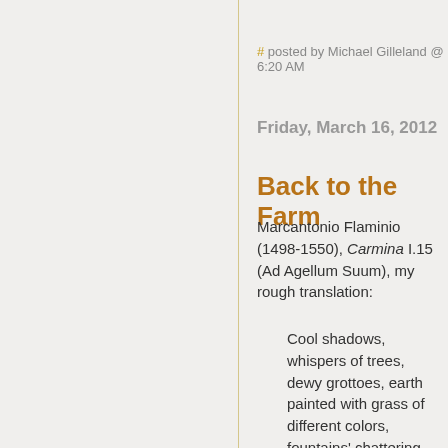# posted by Michael Gilleland @ 6:20 AM
Friday, March 16, 2012
Back to the Farm
Marcantonio Flaminio (1498-1550), Carmina I.15 (Ad Agellum Suum), my rough translation:
Cool shadows, whispers of trees, dewy grottoes, earth painted with grass of different colors, fountains' chattering waters, talkative birds, leisure hours dear to the Muses,
o if the kindly gods above would allow me to fly to your bosom, if I were permitted to enjoy your sweet retreat and now amuse myself with sportive verses, now seek sleep in the green shadows